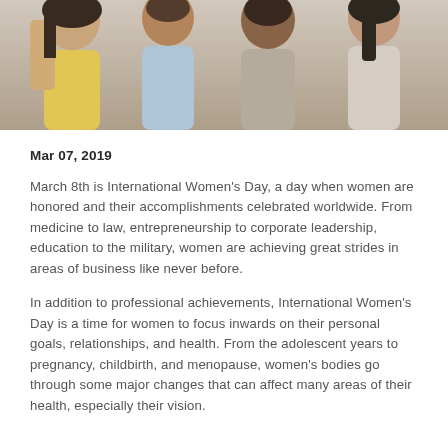[Figure (photo): Group of women photographed together, partial view showing heads and shoulders, cropped at top of page]
Mar 07, 2019
March 8th is International Women's Day, a day when women are honored and their accomplishments celebrated worldwide. From medicine to law, entrepreneurship to corporate leadership, education to the military, women are achieving great strides in areas of business like never before.
In addition to professional achievements, International Women's Day is a time for women to focus inwards on their personal goals, relationships, and health. From the adolescent years to pregnancy, childbirth, and menopause, women's bodies go through some major changes that can affect many areas of their health, especially their vision.